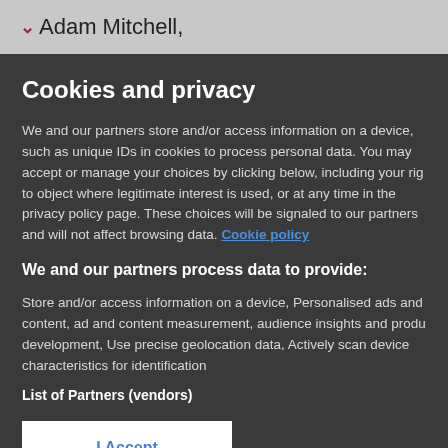Adam Mitchell,
Cookies and privacy
We and our partners store and/or access information on a device, such as unique IDs in cookies to process personal data. You may accept or manage your choices by clicking below, including your rig to object where legitimate interest is used, or at any time in the privacy policy page. These choices will be signaled to our partners and will not affect browsing data. Cookie policy
We and our partners process data to provide:
Store and/or access information on a device, Personalised ads and content, ad and content measurement, audience insights and produ development, Use precise geolocation data, Actively scan device characteristics for identification
List of Partners (vendors)
I Accept